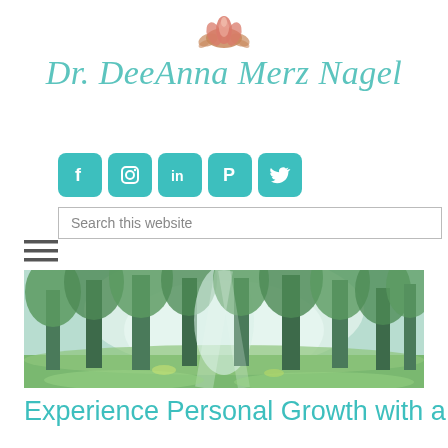[Figure (logo): Lotus flower icon above the brand name Dr. DeeAnna Merz Nagel in teal script font]
[Figure (infographic): Row of 5 teal rounded square social media icons: Facebook (f), Instagram (camera), LinkedIn (in), Pinterest (P), Twitter (bird/X)]
[Figure (screenshot): Search bar with placeholder text 'Search this website']
[Figure (illustration): Hamburger menu icon (three horizontal lines)]
[Figure (photo): Wide panoramic banner photo of a lush green forest with tall trees and misty light filtering through]
Experience Personal Growth with a